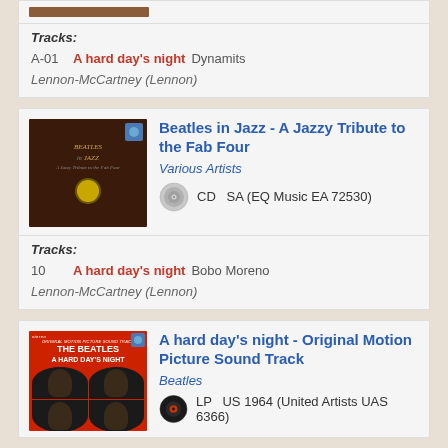Tracks:
A-01   A hard day's night   Dynamits   Lennon-McCartney (Lennon)
Beatles in Jazz - A Jazzy Tribute to the Fab Four
Various Artists
CD   SA (EQ Music EA 72530)
Tracks:
10   A hard day's night   Bobo Moreno   Lennon-McCartney (Lennon)
A hard day's night - Original Motion Picture Sound Track
Beatles
LP   US 1964 (United Artists UAS 6366)